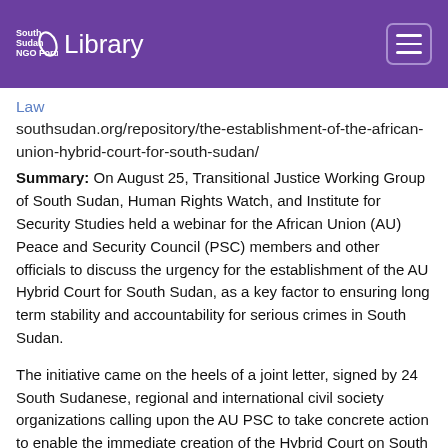South Sudan NGO Forum — Library
Law   southsudan.org/repository/the-establishment-of-the-african-union-hybrid-court-for-south-sudan/
Summary: On August 25, Transitional Justice Working Group of South Sudan, Human Rights Watch, and Institute for Security Studies held a webinar for the African Union (AU) Peace and Security Council (PSC) members and other officials to discuss the urgency for the establishment of the AU Hybrid Court for South Sudan, as a key factor to ensuring long term stability and accountability for serious crimes in South Sudan.
The initiative came on the heels of a joint letter, signed by 24 South Sudanese, regional and international civil society organizations calling upon the AU PSC to take concrete action to enable the immediate creation of the Hybrid Court on South Sudan (HCSS). In preparation for the webinar, Human Rights Watch published a report that documents accounts that...